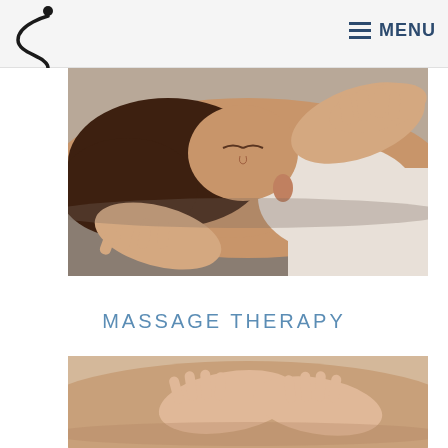S logo and MENU navigation
[Figure (photo): A woman lying on a massage table receiving a neck/shoulder massage from a therapist's hands, gray background]
MASSAGE THERAPY
[Figure (photo): Close-up of hands performing massage therapy on a person's back/body, warm/beige tones]